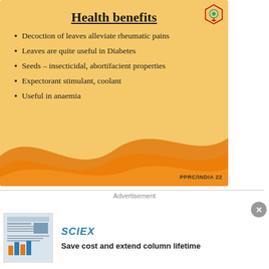Health benefits
Decoction of leaves alleviate rheumatic pains
Leaves are quite useful in Diabetes
Seeds – insecticidal, abortifacient properties
Expectorant stimulant, coolant
Useful in anaemia
PPRC/INDIA 22
Advertisement
[Figure (logo): SCIEX company logo in blue text]
Save cost and extend column lifetime